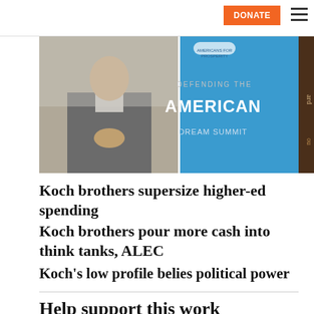DONATE ☰
[Figure (photo): Composite photo: left panel shows a man in a grey suit with hands clasped; right panel shows an Americans for Prosperity 'Defending the American Dream Summit' banner display]
Koch brothers supersize higher-ed spending
Koch brothers pour more cash into think tanks, ALEC
Koch's low profile belies political power
Help support this work